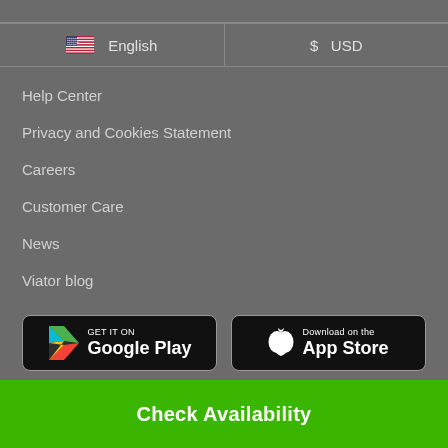| Language | Currency |
| --- | --- |
| 🇺🇸 English | $ USD |
Help Center
Privacy and Cookies Statement
Careers
Customer Care
News
Viator blog
[Figure (screenshot): GET IT ON Google Play button]
[Figure (screenshot): Download on the App Store button]
Check Availability